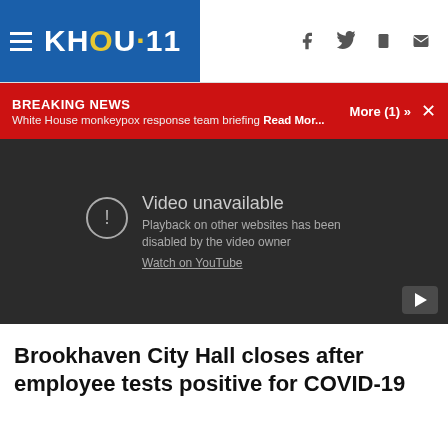KHOU 11
BREAKING NEWS
White House monkeypox response team briefing Read Mor... More (1) »
[Figure (screenshot): Embedded video player showing 'Video unavailable' message. Text reads: 'Playback on other websites has been disabled by the video owner. Watch on YouTube.' A play button icon is in the bottom right corner.]
Brookhaven City Hall closes after employee tests positive for COVID-19